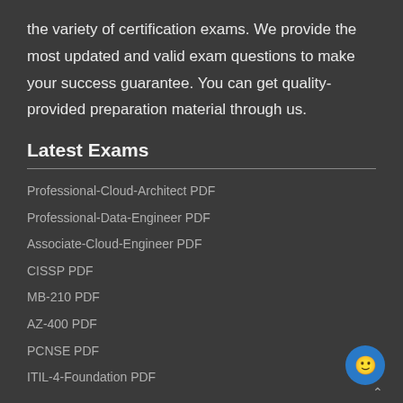the variety of certification exams. We provide the most updated and valid exam questions to make your success guarantee. You can get quality-provided preparation material through us.
Latest Exams
Professional-Cloud-Architect PDF
Professional-Data-Engineer PDF
Associate-Cloud-Engineer PDF
CISSP PDF
MB-210 PDF
AZ-400 PDF
PCNSE PDF
ITIL-4-Foundation PDF
Usefull Links
About us